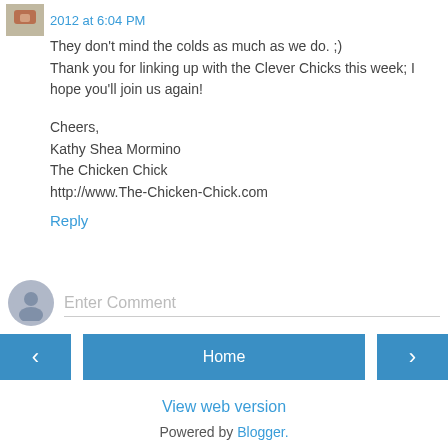2012 at 6:04 PM
They don't mind the colds as much as we do. ;)
Thank you for linking up with the Clever Chicks this week; I hope you'll join us again!

Cheers,
Kathy Shea Mormino
The Chicken Chick
http://www.The-Chicken-Chick.com
Reply
Enter Comment
Home
View web version
Powered by Blogger.